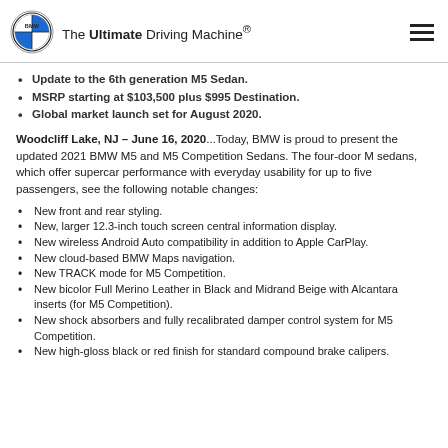The Ultimate Driving Machine®
Update to the 6th generation M5 Sedan.
MSRP starting at $103,500 plus $995 Destination.
Global market launch set for August 2020.
Woodcliff Lake, NJ – June 16, 2020...Today, BMW is proud to present the updated 2021 BMW M5 and M5 Competition Sedans. The four-door M sedans, which offer supercar performance with everyday usability for up to five passengers, see the following notable changes:
New front and rear styling.
New, larger 12.3-inch touch screen central information display.
New wireless Android Auto compatibility in addition to Apple CarPlay.
New cloud-based BMW Maps navigation.
New TRACK mode for M5 Competition.
New bicolor Full Merino Leather in Black and Midrand Beige with Alcantara inserts (for M5 Competition).
New shock absorbers and fully recalibrated damper control system for M5 Competition.
New high-gloss black or red finish for standard compound brake calipers.